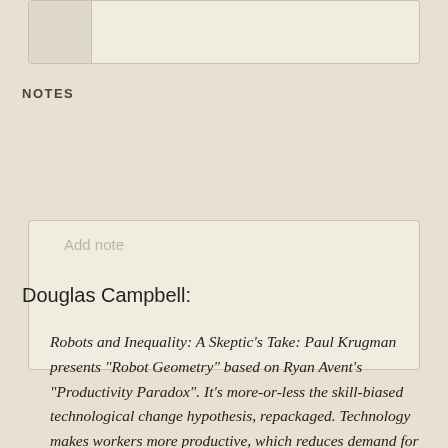[Figure (other): Top UI card with thumbnail placeholder and empty content area]
NOTES
[Figure (other): Notes input box with 'Add note' placeholder text]
Douglas Campbell:
Robots and Inequality: A Skeptic’s Take: Paul Krugman presents "Robot Geometry" based on Ryan Avent's "Productivity Paradox". It's more-or-less the skill-biased technological change hypothesis, repackaged. Technology makes workers more productive, which reduces demand for workers, as